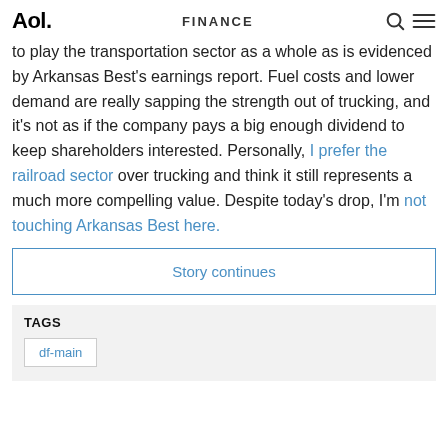Aol. | FINANCE
to play the transportation sector as a whole as is evidenced by Arkansas Best's earnings report. Fuel costs and lower demand are really sapping the strength out of trucking, and it's not as if the company pays a big enough dividend to keep shareholders interested. Personally, I prefer the railroad sector over trucking and think it still represents a much more compelling value. Despite today's drop, I'm not touching Arkansas Best here.
Story continues
TAGS
df-main